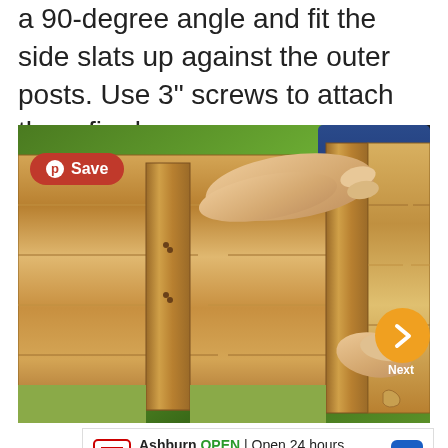a 90-degree angle and fit the side slats up against the outer posts. Use 3" screws to attach them firmly.
[Figure (photo): A person assembling a wooden raised garden bed planter box, fitting side slats against outer posts on grass. A red Pinterest Save button is visible in the top-left of the image. A Next navigation button (orange circle with >) appears on the right edge.]
Ashburn OPEN | Open 24 hours
44680 Wellfleet Dr, Ashburn